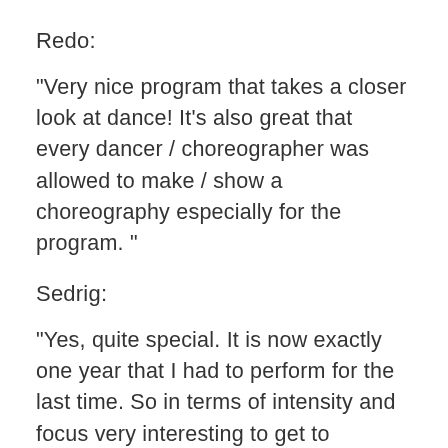Redo:
"Very nice program that takes a closer look at dance! It's also great that every dancer / choreographer was allowed to make / show a choreography especially for the program. "
Sedrig:
"Yes, quite special. It is now exactly one year that I had to perform for the last time. So in terms of intensity and focus very interesting to get to "Performance" level. I also share a bit more about my blindness, which makes it extra personal. And that via a platform that brings '' dance '' to the